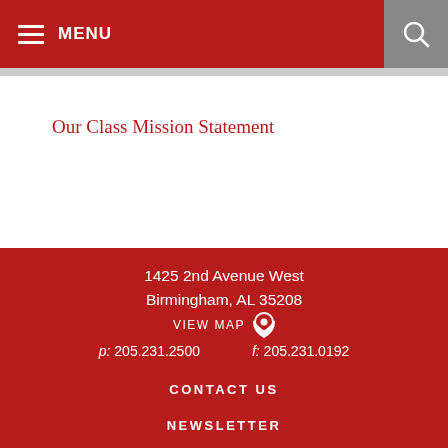MENU
Our Class Mission Statement
1425 2nd Avenue West
Birmingham, AL 35208
VIEW MAP
p: 205.231.2500    f: 205.231.0192
CONTACT US
NEWSLETTER